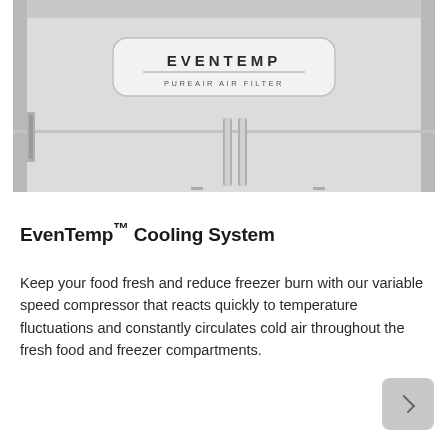[Figure (photo): Interior of a refrigerator showing the EvenTemp PureAir Air Filter panel and shelf with two metal support rods visible. The interior is white/light gray.]
EvenTemp™ Cooling System
Keep your food fresh and reduce freezer burn with our variable speed compressor that reacts quickly to temperature fluctuations and constantly circulates cold air throughout the fresh food and freezer compartments.